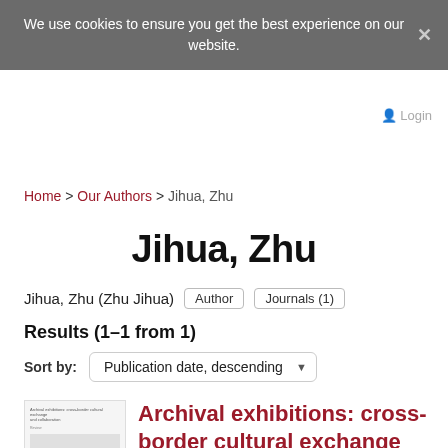We use cookies to ensure you get the best experience on our website.
Login
Home > Our Authors > Jihua, Zhu
Jihua, Zhu
Jihua, Zhu (Zhu Jihua)  Author  Journals (1)
Results (1–1 from 1)
Sort by: Publication date, descending
[Figure (other): Thumbnail preview of article document page]
Archival exhibitions: cross-border cultural exchange and collaboration